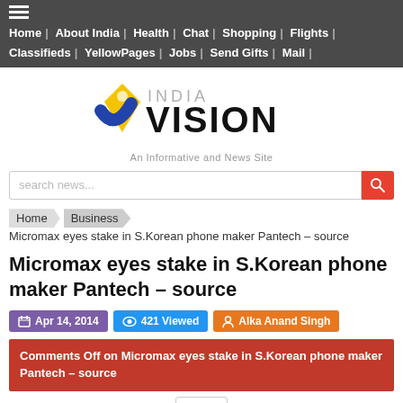Home | About India | Health | Chat | Shopping | Flights | Classifieds | YellowPages | Jobs | Send Gifts | Mail
[Figure (logo): India Vision logo with checkmark icon, text INDIA VISION, tagline An Informative and News Site]
search news...
Home > Business > Micromax eyes stake in S.Korean phone maker Pantech – source
Micromax eyes stake in S.Korean phone maker Pantech – source
Apr 14, 2014  421 Viewed  Alka Anand Singh
Comments Off on Micromax eyes stake in S.Korean phone maker Pantech – source